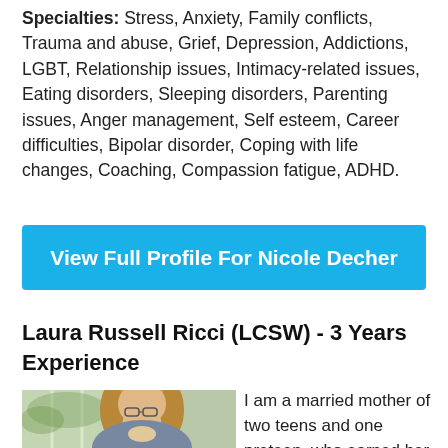Specialties: Stress, Anxiety, Family conflicts, Trauma and abuse, Grief, Depression, Addictions, LGBT, Relationship issues, Intimacy-related issues, Eating disorders, Sleeping disorders, Parenting issues, Anger management, Self esteem, Career difficulties, Bipolar disorder, Coping with life changes, Coaching, Compassion fatigue, ADHD.
View Full Profile For Nicole Decher
Laura Russell Ricci (LCSW) - 3 Years Experience
[Figure (photo): Photo of Laura Russell Ricci, a woman with glasses and curly/wavy hair, photographed outdoors near a window with greenery visible in the background.]
I am a married mother of two teens and one preteen, who earned her Masters in Social Work at age 38 from